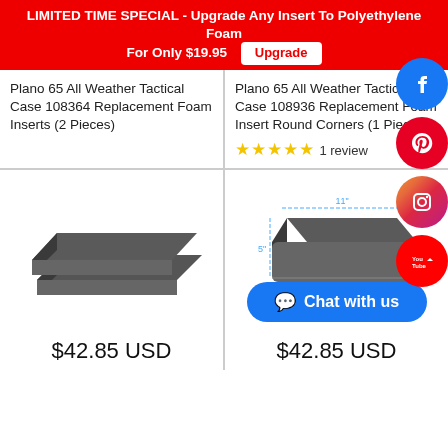LIMITED TIME SPECIAL - Upgrade Any Insert To Polyethylene Foam For Only $19.95 [Upgrade]
Plano 65 All Weather Tactical Case 108364 Replacement Foam Inserts (2 Pieces)
Plano 65 All Weather Tactical Case 108936 Replacement Foam Insert Round Corners (1 Piece)
★★★★★ 1 review
[Figure (photo): Two dark grey foam inserts stacked slightly offset]
[Figure (photo): Dark grey foam insert with rounded corners, shown with dimension lines]
$42.85 USD
$42.85 USD